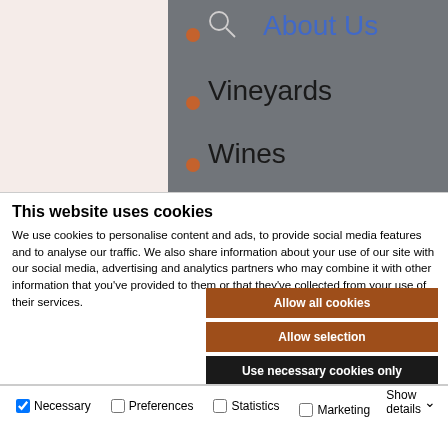[Figure (screenshot): Website navigation header with a grey right panel showing 'About Us' in blue, 'Vineyards' and 'Wines' in black, with a search icon and orange dots. Left panel is light pink/beige.]
This website uses cookies
We use cookies to personalise content and ads, to provide social media features and to analyse our traffic. We also share information about your use of our site with our social media, advertising and analytics partners who may combine it with other information that you've provided to them or that they've collected from your use of their services.
Allow all cookies
Allow selection
Use necessary cookies only
Necessary   Preferences   Statistics   Marketing   Show details